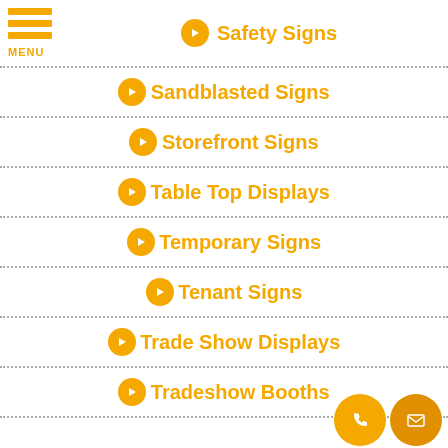Safety Signs
Sandblasted Signs
Storefront Signs
Table Top Displays
Temporary Signs
Tenant Signs
Trade Show Displays
Tradeshow Booths